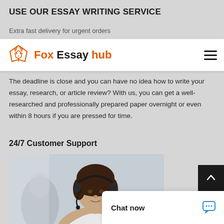USE OUR ESSAY WRITING SERVICE
Extra fast delivery for urgent orders
[Figure (logo): Fox Essay hub logo with fox icon and colored text: Fox (orange), Essay (black), hub (orange)]
The deadline is close and you can have no idea how to write your essay, research, or article review? With us, you can get a well-researched and professionally prepared paper overnight or even within 8 hours if you are pressed for time.
24/7 Customer Support
[Figure (photo): Customer support woman wearing a headset, with blurred background of office]
Chat now